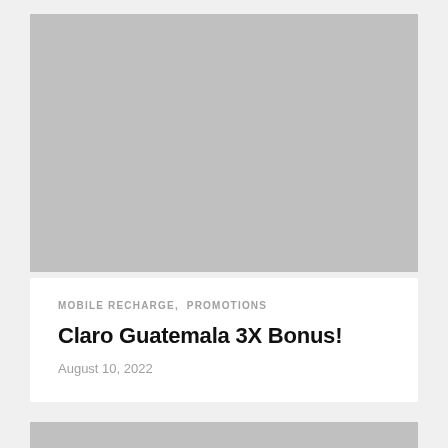[Figure (photo): Large gray placeholder image at the top of the card]
MOBILE RECHARGE, PROMOTIONS
Claro Guatemala 3X Bonus!
August 10, 2022
[Figure (photo): Partial gray placeholder image at the bottom of the page]